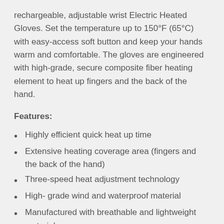rechargeable, adjustable wrist Electric Heated Gloves. Set the temperature up to 150°F (65°C) with easy-access soft button and keep your hands warm and comfortable. The gloves are engineered with high-grade, secure composite fiber heating element to heat up fingers and the back of the hand.
Features:
Highly efficient quick heat up time
Extensive heating coverage area (fingers and the back of the hand)
Three-speed heat adjustment technology
High- grade wind and waterproof material
Manufactured with breathable and lightweight material
Package includes: